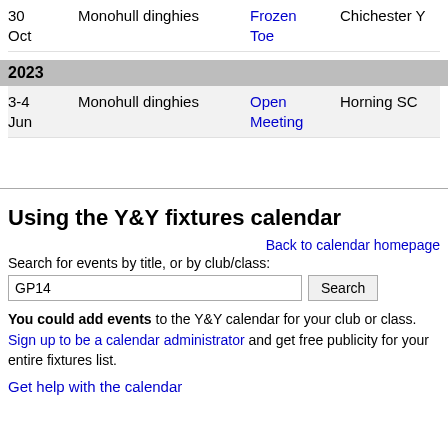| Date | Class | Event | Venue |
| --- | --- | --- | --- |
| 30 Oct | Monohull dinghies | Frozen Toe | Chichester Y |
2023
| Date | Class | Event | Venue |
| --- | --- | --- | --- |
| 3-4 Jun | Monohull dinghies | Open Meeting | Horning SC |
Using the Y&Y fixtures calendar
Back to calendar homepage
Search for events by title, or by club/class:
GP14
You could add events to the Y&Y calendar for your club or class.
Sign up to be a calendar administrator and get free publicity for your entire fixtures list.
Get help with the calendar